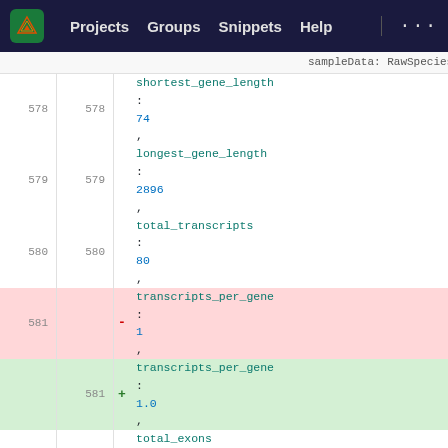Projects   Groups   Snippets   Help   ...
[Figure (screenshot): GitLab code diff view showing changes to a TypeScript data file. Lines 578-587 show context lines (shortest_gene_length: 74, longest_gene_length: 2896, total_transcripts: 80, total_exons: 80, average_exon_length: 412.6, total_introns: 0, average_intron_length: null, closing brace), with two removed lines (581: transcripts_per_gene: 1, and 584: average_exons_per_transcript: 1,) and two added lines (581: transcripts_per_gene: 1.0, and 584: average_exons_per_transcript: 1.0,). After a hunk marker at @@ -630,8 +630,7 @@, lines 630-632 show notes: [ { heading: 'Pseudoautosomal regions']